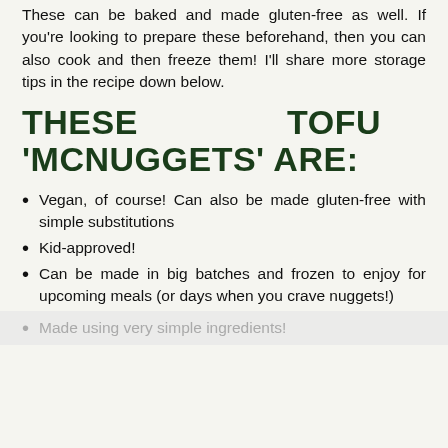These can be baked and made gluten-free as well. If you're looking to prepare these beforehand, then you can also cook and then freeze them! I'll share more storage tips in the recipe down below.
THESE TOFU 'MCNUGGETS' ARE:
Vegan, of course! Can also be made gluten-free with simple substitutions
Kid-approved!
Can be made in big batches and frozen to enjoy for upcoming meals (or days when you crave nuggets!)
Made using very simple ingredients!